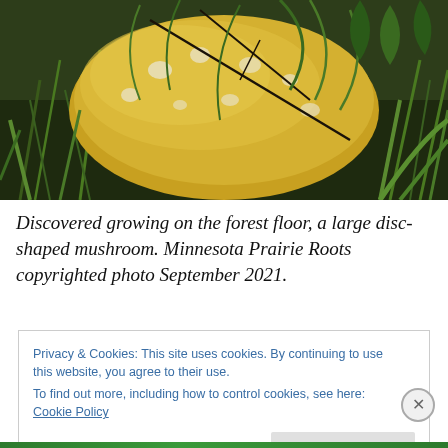[Figure (photo): Close-up photograph of a large yellow disc-shaped mushroom with white spots growing on a forest floor, surrounded by green grass blades, small pine cones, and leaves.]
Discovered growing on the forest floor, a large disc-shaped mushroom. Minnesota Prairie Roots copyrighted photo September 2021.
Privacy & Cookies: This site uses cookies. By continuing to use this website, you agree to their use.
To find out more, including how to control cookies, see here: Cookie Policy
Close and accept